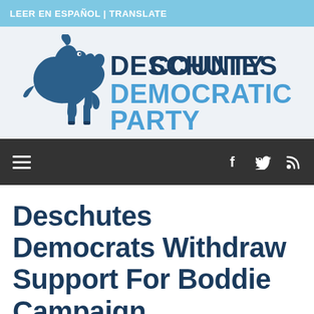LEER EN ESPAÑOL | TRANSLATE
[Figure (logo): Deschutes County Democratic Party logo featuring a stylized blue donkey silhouette and bold text reading DESCHUTES COUNTY DEMOCRATIC PARTY]
Navigation bar with hamburger menu and social icons (Facebook, Twitter, RSS)
Deschutes Democrats Withdraw Support For Boddie Campaign